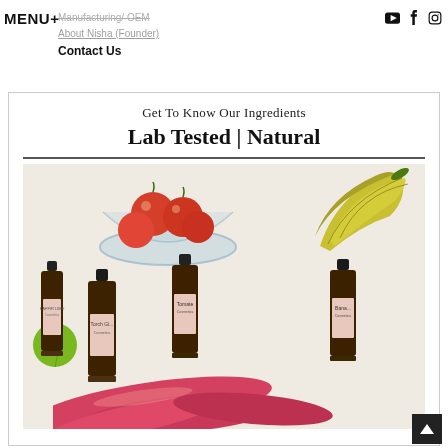MENU+  Manufacturing/ OEM  About Nisha (Founder)  Contact Us
Get To Know Our Ingredients
Lab Tested | Natural
[Figure (photo): Four amber glass dropper bottles labeled Kaffir Lime, Torch Ginger, Tomate Cosmetica, and Banana Cosmetica arranged on a white surface surrounded by fresh tomatoes in a glass bowl, bananas, limes, and red torch ginger flowers.]